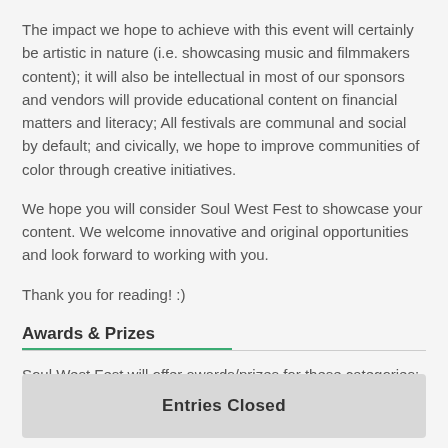The impact we hope to achieve with this event will certainly be artistic in nature (i.e. showcasing music and filmmakers content); it will also be intellectual in most of our sponsors and vendors will provide educational content on financial matters and literacy; All festivals are communal and social by default; and civically, we hope to improve communities of color through creative initiatives.
We hope you will consider Soul West Fest to showcase your content. We welcome innovative and original opportunities and look forward to working with you.
Thank you for reading! :)
Awards & Prizes
Soul West Fest will offer awards/prizes for these categories:
Entries Closed